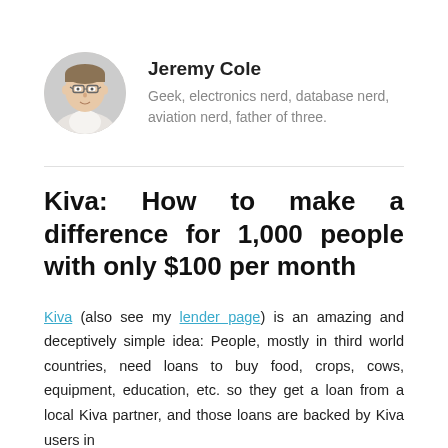[Figure (photo): Circular profile photo of Jeremy Cole, a man with glasses and brown hair, wearing a light-colored collared shirt.]
Jeremy Cole
Geek, electronics nerd, database nerd, aviation nerd, father of three.
Kiva: How to make a difference for 1,000 people with only $100 per month
Kiva (also see my lender page) is an amazing and deceptively simple idea: People, mostly in third world countries, need loans to buy food, crops, cows, equipment, education, etc. so they get a loan from a local Kiva partner, and those loans are backed by Kiva users in $25 increments. Those loans are then added to Kiva...